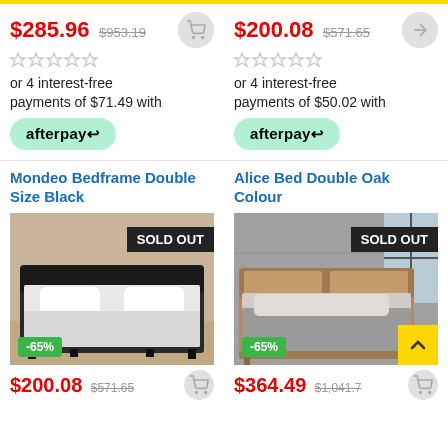$285.96 $953.19 or 4 interest-free payments of $71.49 with afterpay
$200.08 $571.65 or 4 interest-free payments of $50.02 with afterpay
Mondeo Bedframe Double Size Black
[Figure (photo): Dark brown leather bed frame with white bedding, SOLD OUT badge, -65% discount badge]
$200.08 $571.65
Alice Bed Double Oak Colour
[Figure (photo): Oak coloured wooden bed frame with grey bedding in a loft-style room, SOLD OUT badge, -65% discount badge]
$364.49 $1,041.7